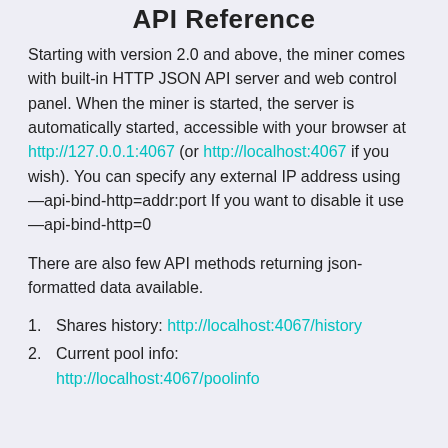API Reference
Starting with version 2.0 and above, the miner comes with built-in HTTP JSON API server and web control panel. When the miner is started, the server is automatically started, accessible with your browser at http://127.0.0.1:4067 (or http://localhost:4067 if you wish). You can specify any external IP address using —api-bind-http=addr:port If you want to disable it use —api-bind-http=0
There are also few API methods returning json-formatted data available.
Shares history: http://localhost:4067/history
Current pool info: http://localhost:4067/poolinfo